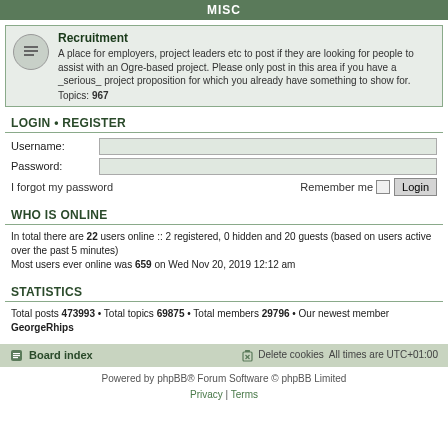MISC
Recruitment
A place for employers, project leaders etc to post if they are looking for people to assist with an Ogre-based project. Please only post in this area if you have a _serious_ project proposition for which you already have something to show for.
Topics: 967
LOGIN • REGISTER
Username:
Password:
I forgot my password  Remember me  Login
WHO IS ONLINE
In total there are 22 users online :: 2 registered, 0 hidden and 20 guests (based on users active over the past 5 minutes)
Most users ever online was 659 on Wed Nov 20, 2019 12:12 am
STATISTICS
Total posts 473993 • Total topics 69875 • Total members 29796 • Our newest member GeorgeRhips
Board index  Delete cookies  All times are UTC+01:00
Powered by phpBB® Forum Software © phpBB Limited
Privacy | Terms